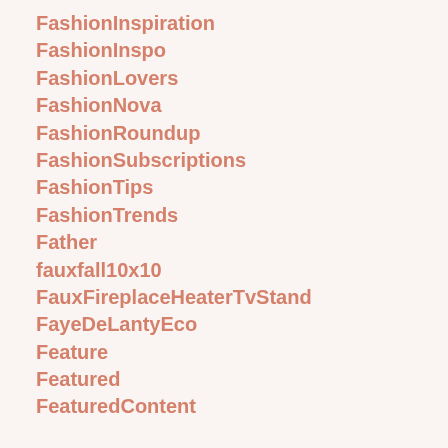FashionInspiration
FashionInspo
FashionLovers
FashionNova
FashionRoundup
FashionSubscriptions
FashionTips
FashionTrends
Father
fauxfall10x10
FauxFireplaceHeaterTvStand
FayeDeLantyEco
Feature
Featured
FeaturedContent